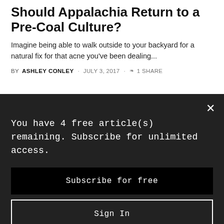Should Appalachia Return to a Pre-Coal Culture?
Imagine being able to walk outside to your backyard for a natural fix for that acne you've been dealing...
BY ASHLEY CONLEY · JULY 3, 2017 · 1 SHARE
[Figure (logo): Box with '100' text inside, white on dark background]
You have 4 free article(s) remaining. Subscribe for unlimited access.
Subscribe for free
Sign In